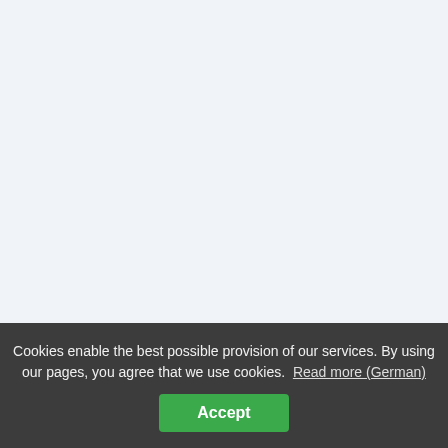Video vom: 29.03.11
Abdeckung...
»zum Video
[Figure (screenshot): Video thumbnail showing interior room with industrial equipment, fdt logo visible at bottom left]
Video vom: 30.08.08
Cookies enable the best possible provision of our services. By using our pages, you agree that we use cookies. Read more (German)
Accept